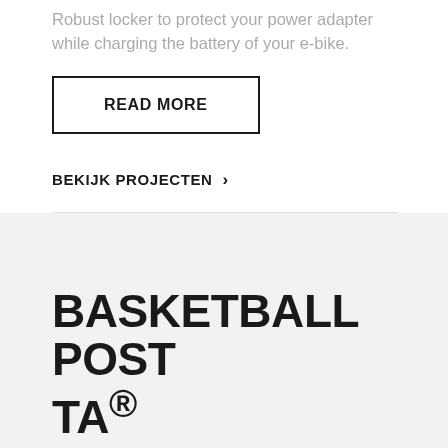Robust locker to protect your power adapter while charging the battery of your e-bike.
READ MORE
BEKIJK PROJECTEN >
BASKETBALL POST TA®
With its unique design, this basketball post gives an exceptional appearance to a square.